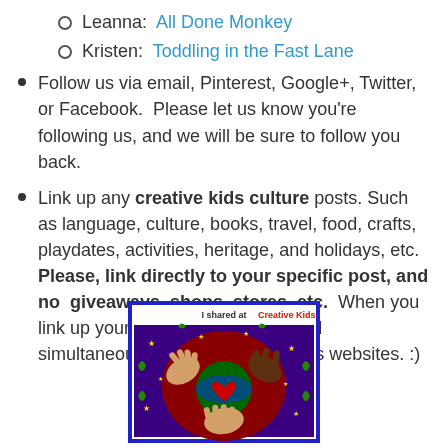Leanna: All Done Monkey
Kristen: Toddling in the Fast Lane
Follow us via email, Pinterest, Google+, Twitter, or Facebook.  Please let us know you're following us, and we will be sure to follow you back.
Link up any creative kids culture posts. Such as language, culture, books, travel, food, crafts, playdates, activities, heritage, and holidays, etc. Please, link directly to your specific post, and no giveaways, shops, stores, etc.  When you link up your blog will also be shared simultaneously on our co-hostesses websites. :)
[Figure (illustration): Colorful badge/button image showing hands of different skin tones around a globe with a heart, titled 'I shared at Creative Kids', surrounded by a blue border.]